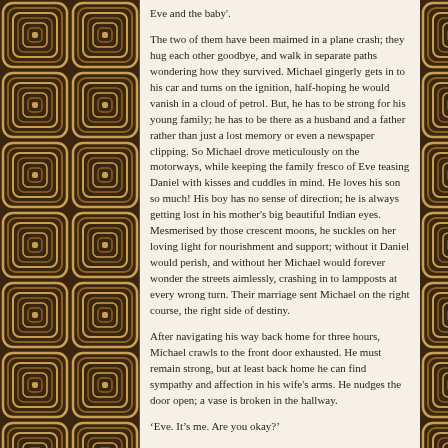[Figure (illustration): Decorative border pattern on left and right sides consisting of repeating concentric rounded squares in brown and tan colors on a dark background.]
Eve and the baby'.
The two of them have been maimed in a plane crash; they hug each other goodbye, and walk in separate paths wondering how they survived. Michael gingerly gets in to his car and turns on the ignition, half-hoping he would vanish in a cloud of petrol. But, he has to be strong for his young family; he has to be there as a husband and a father rather than just a lost memory or even a newspaper clipping. So Michael drove meticulously on the motorways, while keeping the family fresco of Eve teasing Daniel with kisses and cuddles in mind. He loves his son so much! His boy has no sense of direction; he is always getting lost in his mother's big beautiful Indian eyes. Mesmerised by those crescent moons, he suckles on her loving light for nourishment and support; without it Daniel would perish, and without her Michael would forever wonder the streets aimlessly, crashing in to lampposts at every wrong turn. Their marriage sent Michael on the right course, the right side of destiny.
After navigating his way back home for three hours, Michael crawls to the front door exhausted. He must remain strong, but at least back home he can find sympathy and affection in his wife's arms. He nudges the door open; a vase is broken in the hallway.
‘Eve. It’s me. Are you okay?’